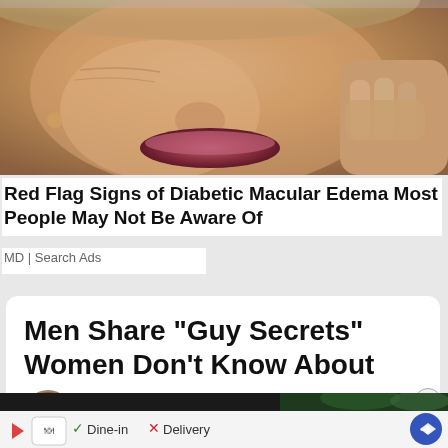[Figure (photo): Close-up photo of an elderly woman's face, showing lips and cheek with hand raised near face]
Red Flag Signs of Diabetic Macular Edema Most People May Not Be Aware Of
MD | Search Ads
Men Share "Guy Secrets" Women Don't Know About
By Thomas Dane
January 30 | 2019
[Figure (photo): Dark banner with restaurant ad strip at bottom showing Dine-in checkmark and X Delivery icons]